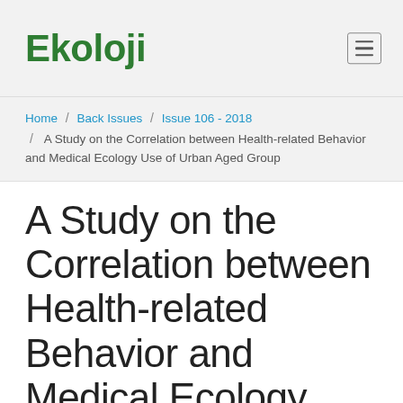Ekoloji
Home / Back Issues / Issue 106 - 2018 / A Study on the Correlation between Health-related Behavior and Medical Ecology Use of Urban Aged Group
A Study on the Correlation between Health-related Behavior and Medical Ecology Use of Urban Aged Group